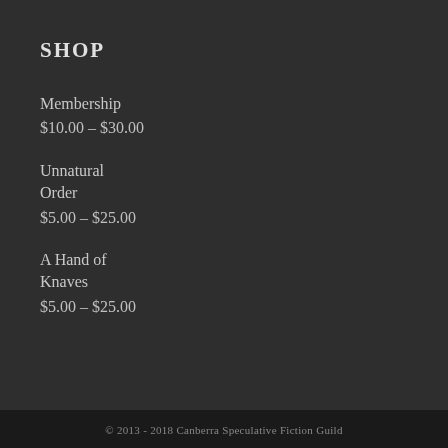SHOP
Membership
$10.00 – $30.00
Unnatural Order
$5.00 – $25.00
A Hand of Knaves
$5.00 – $25.00
© 2013 - 2018 Canberra Speculative Fiction Guild